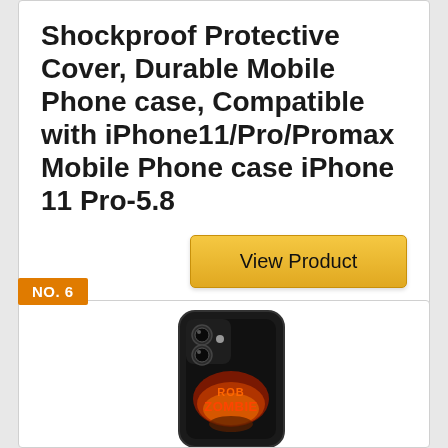Shockproof Protective Cover, Durable Mobile Phone case, Compatible with iPhone11/Pro/Promax Mobile Phone case iPhone 11 Pro-5.8
View Product
NO. 6
[Figure (photo): A black iPhone case with a Rob Zombie graphic design showing fire and monster imagery on the back, viewed from the rear-top angle showing dual camera lenses]